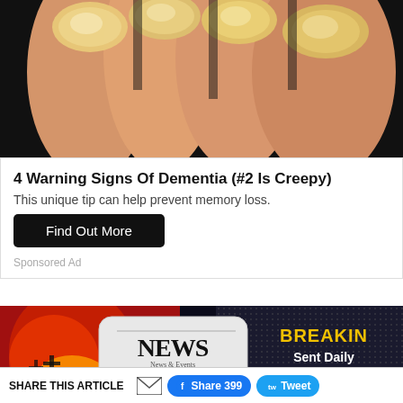[Figure (photo): Close-up photo of fingernails showing yellowish discoloration on multiple fingers against a dark background]
4 Warning Signs Of Dementia (#2 Is Creepy)
This unique tip can help prevent memory loss.
Find Out More
Sponsored Ad
[Figure (screenshot): News banner advertisement with globe, rolled newspaper with NEWS logo and 'News & Events' text, and text reading BREAKING NEWS Sent Daily]
SHARE THIS ARTICLE
Share 399
Tweet